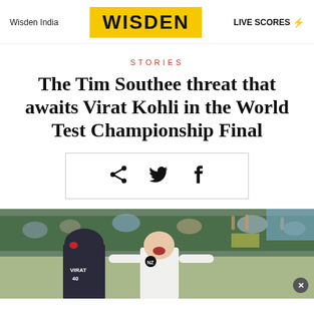Wisden India | WISDEN | LIVE SCORES
STORIES
The Tim Southee threat that awaits Virat Kohli in the World Test Championship Final
[Figure (other): Share icons box with share, twitter, and facebook icons]
[Figure (photo): Cricket players on field, New Zealand player celebrating, crowd in background. Player with VIRAT on jersey visible from behind.]